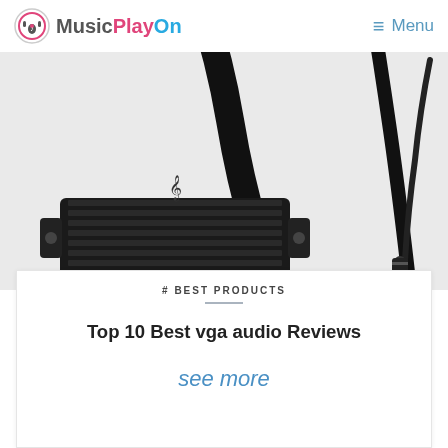MusicPlayOn   Menu
[Figure (photo): Close-up photo of a VGA cable connector with gold pins and black ribbed housing, with an audio jack cable alongside, on a white background]
# BEST PRODUCTS
Top 10 Best vga audio Reviews
see more